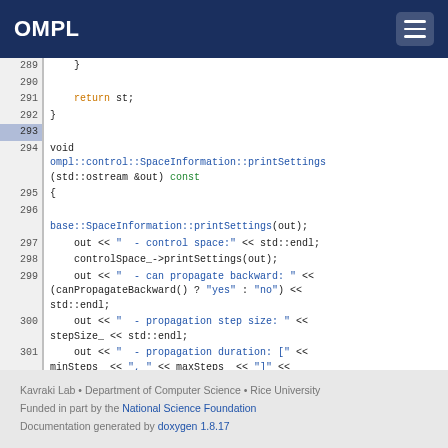OMPL
[Figure (screenshot): C++ source code viewer showing lines 289-302 of OMPL control SpaceInformation file, with syntax highlighting. Line 293 is highlighted. Code shows return statement, void function printSettings definition, and its implementation body.]
Kavraki Lab • Department of Computer Science • Rice University
Funded in part by the National Science Foundation
Documentation generated by doxygen 1.8.17